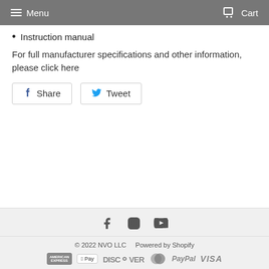Menu  Cart
Instruction manual
For full manufacturer specifications and other information, please click here
[Figure (other): Social share buttons: Facebook Share and Twitter Tweet]
© 2022 NVO LLC  Powered by Shopify  [payment icons: American Express, Apple Pay, Discover, MasterCard, PayPal, Visa]